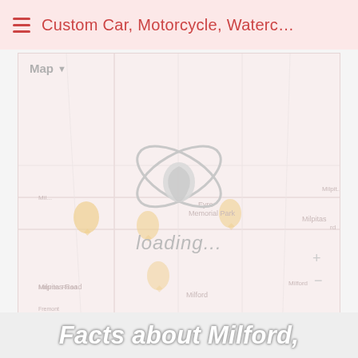Custom Car, Motorcycle, Waterc...
[Figure (map): A Google Maps embed showing Milford area with location pins and a loading overlay featuring an atom/orbit logo and 'loading...' text. Map shows Eyre Memorial Park, Milford area locations. Map controls include + and - zoom buttons.]
Facts about Milford,